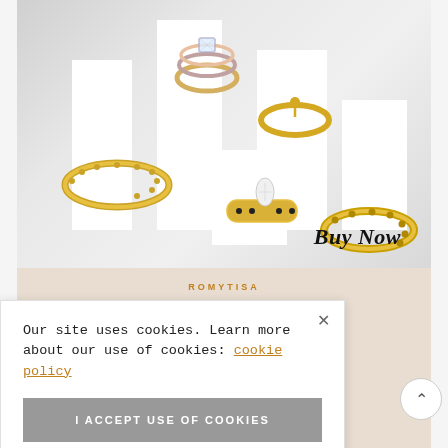[Figure (photo): Product photo of multiple gold rings and bangles displayed on white geometric pedestals against a light grey background. Includes a multi-tone stacked ring with crystals, gold studded bangles, a gold ring with pendant detail, a gold band with gemstones. 'Buy Now' text in bold italic appears bottom-right.]
[Figure (photo): Beige/cream background section with ROMYTISA brand name in gold letters at top, and partial view of necklace/jewelry silhouettes at the bottom.]
Our site uses cookies. Learn more about our use of cookies: cookie policy
I ACCEPT USE OF COOKIES